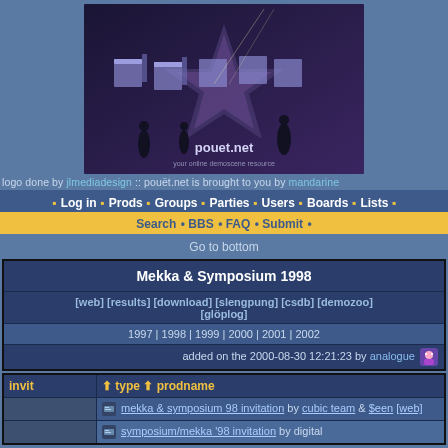[Figure (logo): pouet.net logo banner with silhouettes of musicians and 3D letters on dark blue/purple background, text 'pouet.net' visible]
logo done by jlmediadesign :: pouët.net is brought to you by mandarine
• Log in • Prods • Groups • Parties • Users • Boards • Lists •
Search • BBS • FAQ • Submit •
Go to bottom
| Mekka & Symposium 1998 |
| [web] [results] [download] [slengpung] [csdb] [demozoo] [glöplog] |
| 1997 | 1998 | 1999 | 2000 | 2001 | 2002 |
| added on the 2000-08-30 12:21:23 by analogue |
| invit | type  prodname |
| --- | --- |
|  | mekka & symposium 98 invitation by cubic team & $een [web] |
|  | symposium/mekka '98 invitation by digital... |